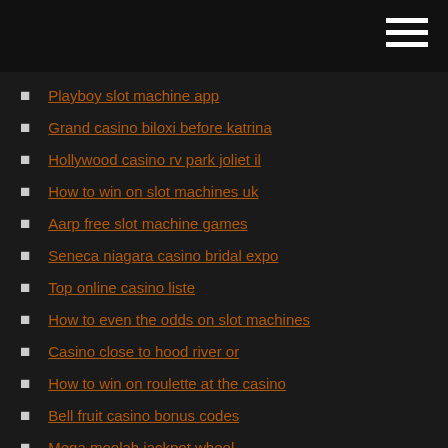Playboy slot machine app
Grand casino biloxi before katrina
Hollywood casino rv park joliet il
How to win on slot machines uk
Aarp free slot machine games
Seneca niagara casino bridal expo
Top online casino liste
How to even the odds on slot machines
Casino close to hood river or
How to win on roulette at the casino
Bell fruit casino bonus codes
Mega moolah jackpot wheel
Ironman new zealand kona slots
Online casino slot machines south africa